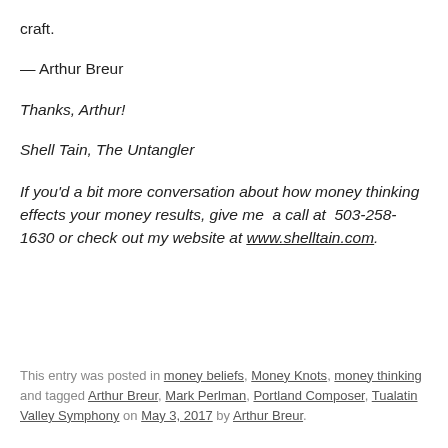craft.
— Arthur Breur
Thanks, Arthur!
Shell Tain, The Untangler
If you'd a bit more conversation about how money thinking effects your money results, give me  a call at  503-258-1630 or check out my website at www.shelltain.com.
This entry was posted in money beliefs, Money Knots, money thinking and tagged Arthur Breur, Mark Perlman, Portland Composer, Tualatin Valley Symphony on May 3, 2017 by Arthur Breur.